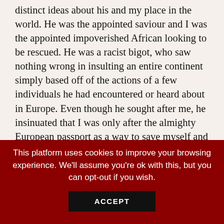distinct ideas about his and my place in the world. He was the appointed saviour and I was the appointed impoverished African looking to be rescued. He was a racist bigot, who saw nothing wrong in insulting an entire continent simply based off of the actions of a few individuals he had encountered or heard about in Europe. Even though he sought after me, he insinuated that I was only after the almighty European passport as a way to save myself and my family from wretched poverty, which was apparently consuming Africa, my loved ones included. I voiced my concern with those around me about his behaviour towards me, but again, the message was clear. Even at his worst, he was still better than the best Kenyan around. Was it because of the promise of what he could offer me or just by virtue of his
This platform uses cookies to improve your browsing experience. We'll assume you're ok with this, but you can opt-out if you wish.
ACCEPT